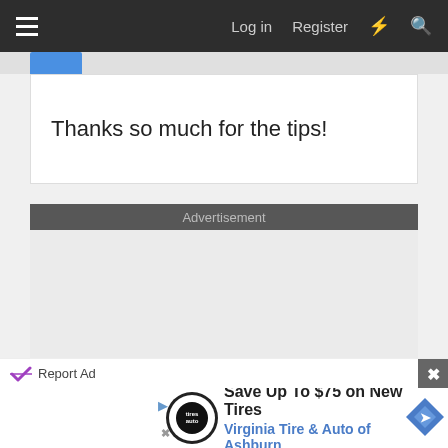Log in  Register
Thanks so much for the tips!
Advertisement
[Figure (other): Gray advertisement placeholder area]
Report Ad
[Figure (other): Save Up To $75 on New Tires - Virginia Tire & Auto of Ashburn advertisement banner with tire logo and diamond navigation icon]